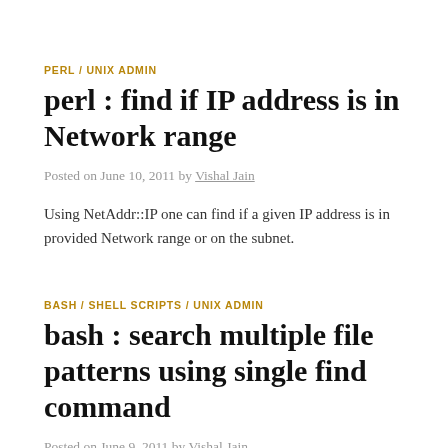PERL / UNIX ADMIN
perl : find if IP address is in Network range
Posted on June 10, 2011 by Vishal Jain
Using NetAddr::IP one can find if a given IP address is in provided Network range or on the subnet.
BASH / SHELL SCRIPTS / UNIX ADMIN
bash : search multiple file patterns using single find command
Posted on June 9, 2011 by Vishal Jain